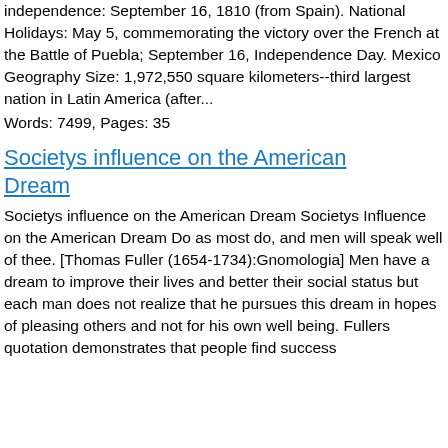independence: September 16, 1810 (from Spain). National Holidays: May 5, commemorating the victory over the French at the Battle of Puebla; September 16, Independence Day. Mexico Geography Size: 1,972,550 square kilometers--third largest nation in Latin America (after...
Words: 7499, Pages: 35
Societys influence on the American Dream
Societys influence on the American Dream Societys Influence on the American Dream Do as most do, and men will speak well of thee. [Thomas Fuller (1654-1734):Gnomologia] Men have a dream to improve their lives and better their social status but each man does not realize that he pursues this dream in hopes of pleasing others and not for his own well being. Fullers quotation demonstrates that people find success